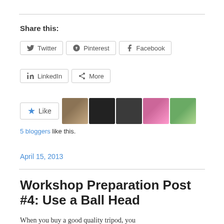Share this:
Twitter | Pinterest | Facebook | LinkedIn | More
[Figure (other): Like button with star icon and five blogger avatar thumbnails]
5 bloggers like this.
April 15, 2013
Workshop Preparation Post #4: Use a Ball Head
When you buy a good quality tripod, you